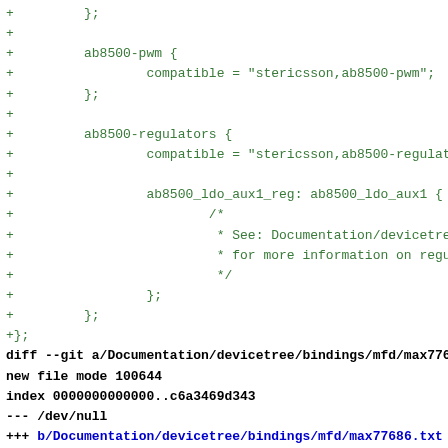diff code snippet showing ab8500 device tree additions and start of max77686 diff
diff --git a/Documentation/devicetree/bindings/mfd/max77686.t
new file mode 100644
index 0000000000000..c6a3469d343
--- /dev/null
+++ b/Documentation/devicetree/bindings/mfd/max77686.txt
@@ -0,0 +1,59 @@
+Maxim MAX77686 multi-function device
+